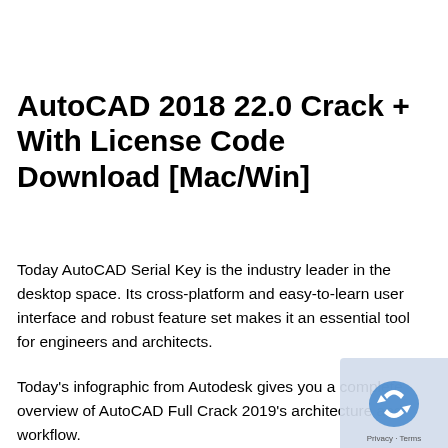AutoCAD 2018 22.0 Crack + With License Code Download [Mac/Win]
Today AutoCAD Serial Key is the industry leader in the desktop space. Its cross-platform and easy-to-learn user interface and robust feature set makes it an essential tool for engineers and architects.
Today's infographic from Autodesk gives you a complete overview of AutoCAD Full Crack 2019's architecture and workflow.